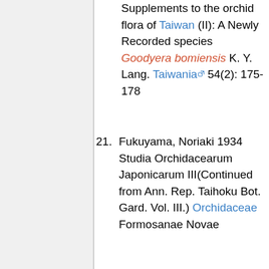Han Chuan Hsu 2009 Supplements to the orchid flora of Taiwan (II): A Newly Recorded species Goodyera bomiensis K. Y. Lang. Taiwania 54(2): 175-178
21. Fukuyama, Noriaki 1934 Studia Orchidacearum Japonicarum III(Continued from Ann. Rep. Taihoku Bot. Gard. Vol. III.) Orchidaceae Formosanae Novae